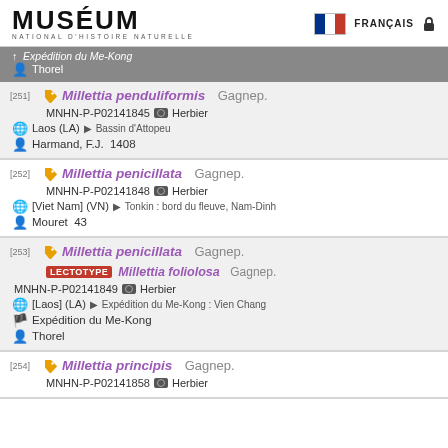MUSÉUM NATIONAL D'HISTOIRE NATURELLE — FRANÇAIS
Expédition du Me-Kong | Thorel
[251] Millettia penduliformis Gagnep. MNHN-P-P02141845 Herbier | Laos (LA) > Bassin d'Attopeu | Harmand, F.J. 1408
[252] Millettia penicillata Gagnep. MNHN-P-P02141848 Herbier | [Viet Nam] (VN) > Tonkin : bord du fleuve, Nam-Dinh | Mouret 43
[253] Millettia penicillata Gagnep. LECTOTYPE Millettia foliolosa Gagnep. MNHN-P-P02141849 Herbier | [Laos] (LA) > Expédition du Me-Kong : Vien Chang | Expédition du Me-Kong | Thorel
[254] Millettia principis Gagnep. MNHN-P-P02141858 Herbier